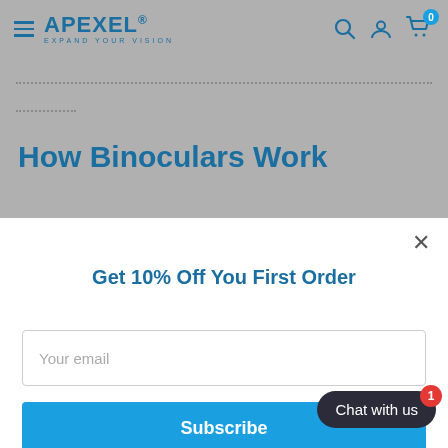APEXEL® EXPAND YOUR VISION
How Binoculars Work
Get 10% Off You First Order
Your email
Subscribe
Chat with us